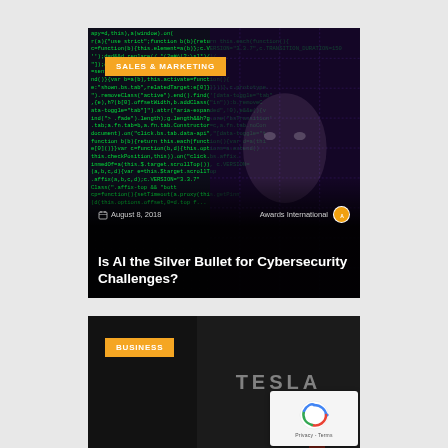[Figure (screenshot): Article card with dark code-text background showing JavaScript code, overlaid with AI face. Contains category badge 'SALES & MARKETING', date 'August 8, 2018', author 'Awards International' with circular logo, and article title 'Is AI the Silver Bullet for Cybersecurity Challenges?']
Is AI the Silver Bullet for Cybersecurity Challenges?
[Figure (screenshot): Article card with dark background showing Tesla charging station. Contains category badge 'BUSINESS'. A reCAPTCHA widget overlay is visible in the bottom right corner with 'Privacy - Terms' text.]